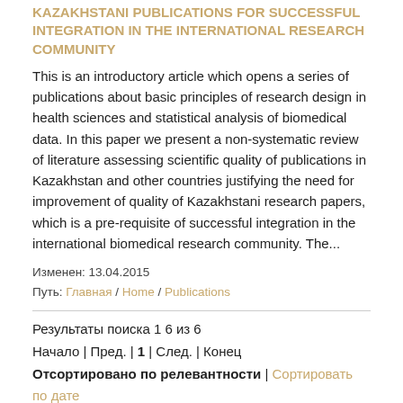KAZAKHSTANI PUBLICATIONS FOR SUCCESSFUL INTEGRATION IN THE INTERNATIONAL RESEARCH COMMUNITY
This is an introductory article which opens a series of publications about basic principles of research design in health sciences and statistical analysis of biomedical data. In this paper we present a non-systematic review of literature assessing scientific quality of publications in Kazakhstan and other countries justifying the need for improvement of quality of Kazakhstani research papers, which is a pre-requisite of successful integration in the international biomedical research community. The...
Изменен: 13.04.2015
Путь: Главная / Home / Publications
Результаты поиска 1 6 из 6
Начало | Пред. | 1 | След. | Конец
Отсортировано по релевантности | Сортировать по дате
Главный редактор